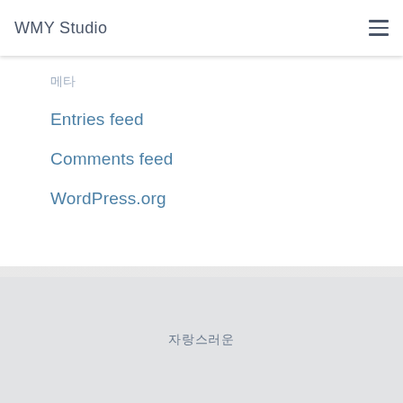WMY Studio
메타
Entries feed
Comments feed
WordPress.org
자랑스러운